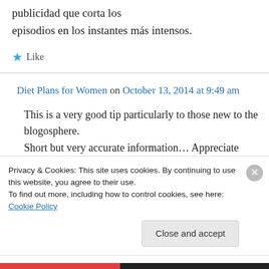publicidad que corta los episodios en los instantes más intensos.
★ Like
Diet Plans for Women on October 13, 2014 at 9:49 am
This is a very good tip particularly to those new to the blogosphere. Short but very accurate information… Appreciate
Privacy & Cookies: This site uses cookies. By continuing to use this website, you agree to their use. To find out more, including how to control cookies, see here: Cookie Policy
Close and accept